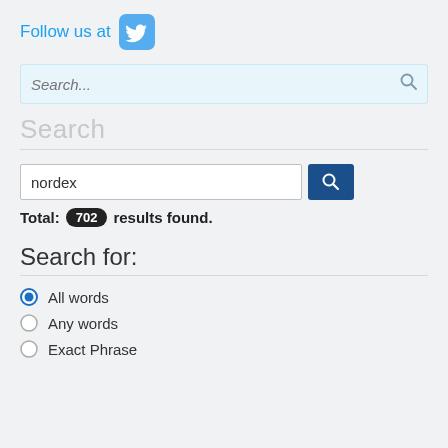Follow us at [Twitter icon]
[Figure (screenshot): Top search bar with placeholder text 'Search...' and a magnifying glass icon on the right]
Search
nordex [search button]
Total: 702 results found.
Search for:
All words
Any words
Exact Phrase